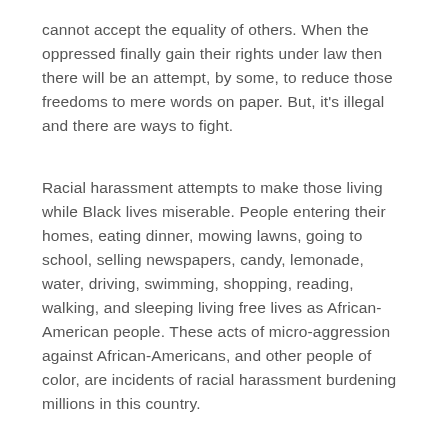cannot accept the equality of others. When the oppressed finally gain their rights under law then there will be an attempt, by some, to reduce those freedoms to mere words on paper. But, it's illegal and there are ways to fight.
Racial harassment attempts to make those living while Black lives miserable. People entering their homes, eating dinner, mowing lawns, going to school, selling newspapers, candy, lemonade, water, driving, swimming, shopping, reading, walking, and sleeping living free lives as African-American people. These acts of micro-aggression against African-Americans, and other people of color, are incidents of racial harassment burdening millions in this country.